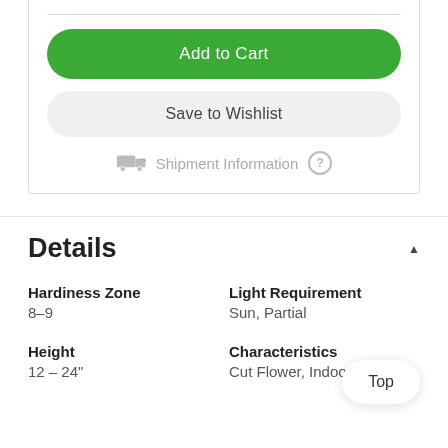Add to Cart
Save to Wishlist
Shipment Information
Details
Hardiness Zone
8–9
Light Requirement
Sun, Partial
Height
12 – 24"
Characteristics
Cut Flower, Indoors
Top